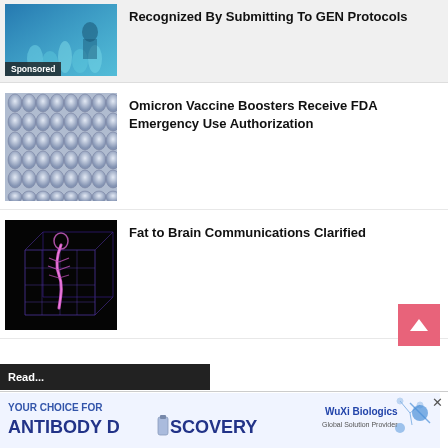[Figure (photo): Lab scene with blue-lit scientific glassware and researcher in background, with 'Sponsored' label overlay]
Recognized By Submitting To GEN Protocols
[Figure (photo): Rows of glass vaccine vials arranged in a grid, top-down view]
Omicron Vaccine Boosters Receive FDA Emergency Use Authorization
[Figure (photo): Dark background with purple/pink glowing anatomical figure (spine/skeleton) overlaid on a grid cube wireframe]
Fat to Brain Communications Clarified
[Figure (screenshot): Advertisement banner: YOUR CHOICE FOR ANTIBODY DISCOVERY - WuXi Biologics, Global Solution Provider]
Read...